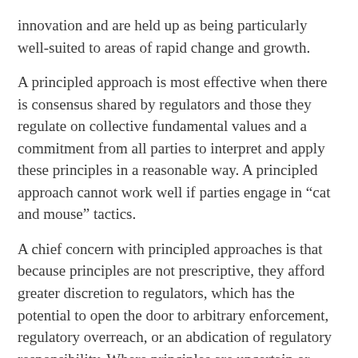innovation and are held up as being particularly well-suited to areas of rapid change and growth.
A principled approach is most effective when there is consensus shared by regulators and those they regulate on collective fundamental values and a commitment from all parties to interpret and apply these principles in a reasonable way. A principled approach cannot work well if parties engage in “cat and mouse” tactics.
A chief concern with principled approaches is that because principles are not prescriptive, they afford greater discretion to regulators, which has the potential to open the door to arbitrary enforcement, regulatory overreach, or an abdication of regulatory responsibility. Where principles are uncertain or unpredictably enforced, there is a risk of “over-compliance” by those who are regulated, out of fear of strict interpretations by regulators. This conservatism can restrict innovation.
There have also been criticisms of the principled approach for